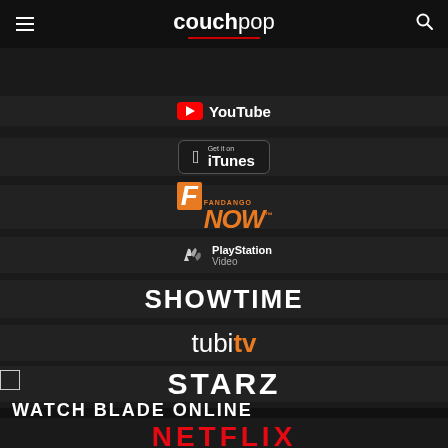couchpop
[Figure (logo): YouTube logo]
[Figure (logo): iTunes Get it on button]
[Figure (logo): FandangoNOW logo]
[Figure (logo): PlayStation Video logo]
[Figure (logo): SHOWTIME logo]
[Figure (logo): tubi tv logo]
[Figure (logo): STARZ logo]
[Figure (illustration): Blade movie image placeholder]
WATCH BLADE ONLINE
[Figure (logo): NETFLIX logo]